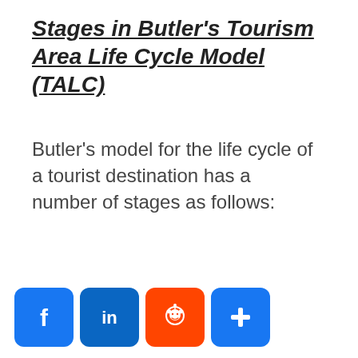Stages in Butler's Tourism Area Life Cycle Model (TALC)
Butler's model for the life cycle of a tourist destination has a number of stages as follows:
[Figure (other): Row of four social sharing buttons: Facebook (blue 'f'), LinkedIn (blue 'in'), Reddit (orange alien icon), and a blue share/plus button]